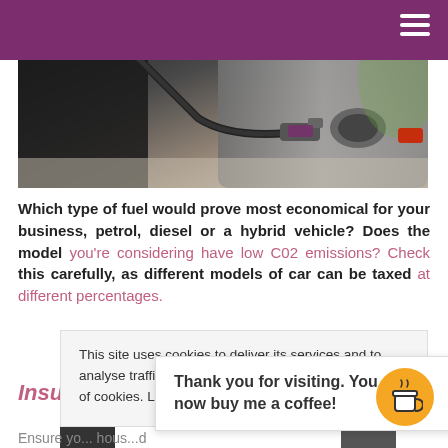[Figure (photo): Close-up photo of a person fueling a car at a petrol station, showing a fuel nozzle inserted into a vehicle's fuel cap area]
Which type of fuel would prove most economical for your business, petrol, diesel or a hybrid vehicle? Does the model you're considering have low C02 emissions? Check this carefully, as different models of car can be taxed at different percentages.
This site uses cookies to deliver its services and to analyse traffic. By using this site, you agree to its use of cookies. Learn more
Insuran...
Thank you for visiting. You can now buy me a coffee!
Ensure yo... hous... d company car insurance. Shop around and look at the range of